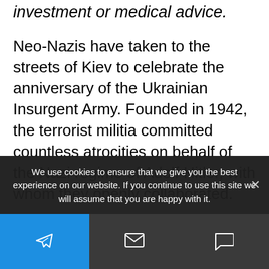investment or medical advice.
Neo-Nazis have taken to the streets of Kiev to celebrate the anniversary of the Ukrainian Insurgent Army. Founded in 1942, the terrorist militia committed countless atrocities on behalf of the Nazi regime of Adolf Hitler, with whom they openly collaborated.
The Ukrainian Insurgent Army targeted Russians, Soviet Ukrainians, Poles, Jews and others during
We use cookies to ensure that we give you the best experience on our website. If you continue to use this site we will assume that you are happy with it.